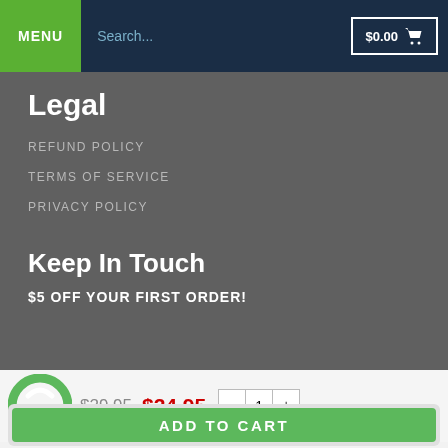MENU   Search...   $0.00 🛒
Legal
REFUND POLICY
TERMS OF SERVICE
PRIVACY POLICY
Keep In Touch
$5 OFF YOUR FIRST ORDER!
$29.95  $24.95   -  1  +
ADD TO CART